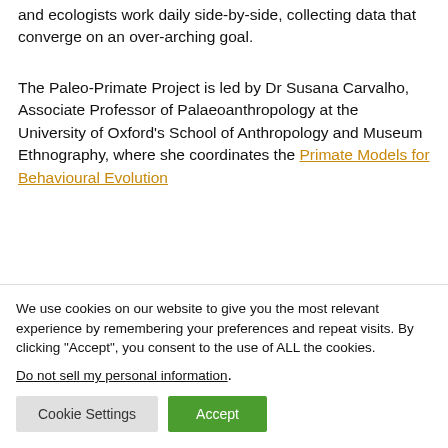and ecologists work daily side-by-side, collecting data that converge on an over-arching goal.
The Paleo-Primate Project is led by Dr Susana Carvalho, Associate Professor of Palaeoanthropology at the University of Oxford's School of Anthropology and Museum Ethnography, where she coordinates the Primate Models for Behavioural Evolution
We use cookies on our website to give you the most relevant experience by remembering your preferences and repeat visits. By clicking "Accept", you consent to the use of ALL the cookies.
Do not sell my personal information.